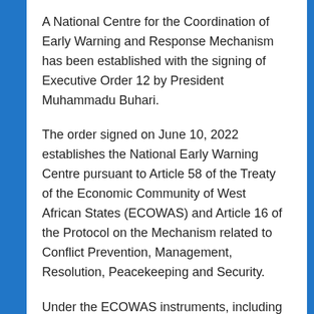A National Centre for the Coordination of Early Warning and Response Mechanism has been established with the signing of Executive Order 12 by President Muhammadu Buhari.
The order signed on June 10, 2022 establishes the National Early Warning Centre pursuant to Article 58 of the Treaty of the Economic Community of West African States (ECOWAS) and Article 16 of the Protocol on the Mechanism related to Conflict Prevention, Management, Resolution, Peacekeeping and Security.
Under the ECOWAS instruments, including the 1993 Revised ECOWAS Treaty, each member state is to establish a national early warning centre to address issues related to threats to human security as part of the regional body's peace and security architecture.